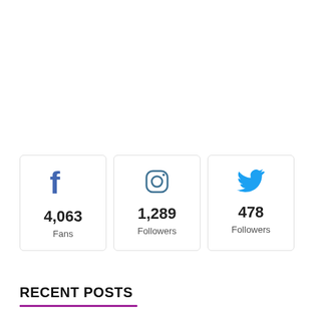[Figure (infographic): Three social media stat cards: Facebook 4,063 Fans, Instagram 1,289 Followers, Twitter 478 Followers]
RECENT POSTS